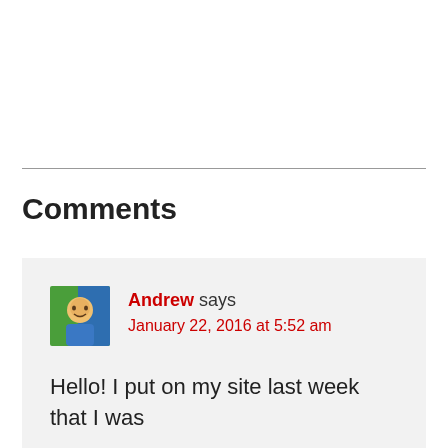Comments
Andrew says
January 22, 2016 at 5:52 am
Hello! I put on my site last week that I was joining the challenge. I'm really excited to be a part of it and get started. When I